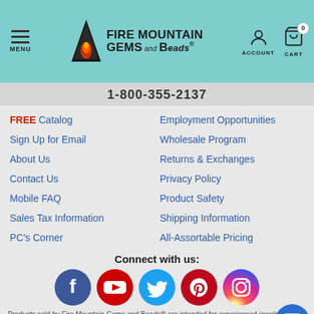[Figure (logo): Fire Mountain Gems and Beads logo with mountain/flame icon and text]
1-800-355-2137
FREE Catalog
Employment Opportunities
Sign Up for Email
Wholesale Program
About Us
Returns & Exchanges
Contact Us
Privacy Policy
Mobile FAQ
Product Safety
Sales Tax Information
Shipping Information
PC's Corner
All-Assortable Pricing
Connect with us:
[Figure (illustration): Social media icons: Facebook, YouTube, Twitter, Pinterest, Instagram]
Products sold by Fire Mountain Gems and Beads® are intended for experienced jewelry-makers and designer-artists; children 14 years of age or younger should use these products with adult direction.